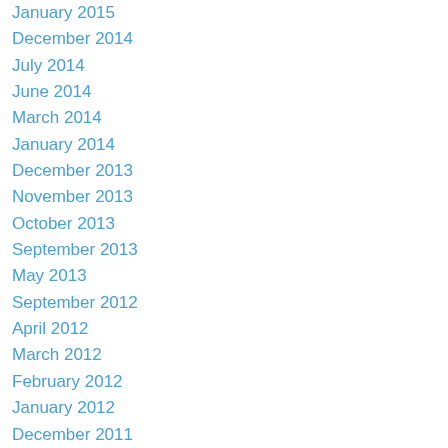January 2015
December 2014
July 2014
June 2014
March 2014
January 2014
December 2013
November 2013
October 2013
September 2013
May 2013
September 2012
April 2012
March 2012
February 2012
January 2012
December 2011
November 2011
Categories
All